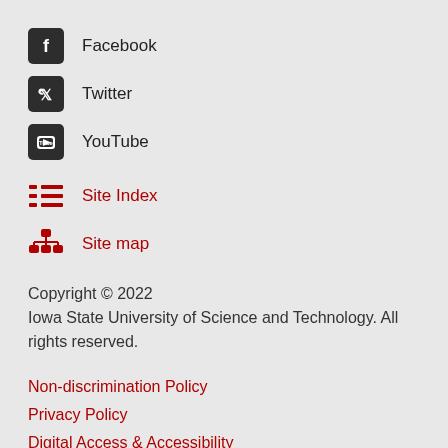Facebook
Twitter
YouTube
Site Index
Site map
Copyright © 2022
Iowa State University of Science and Technology. All rights reserved.
Non-discrimination Policy
Privacy Policy
Digital Access & Accessibility